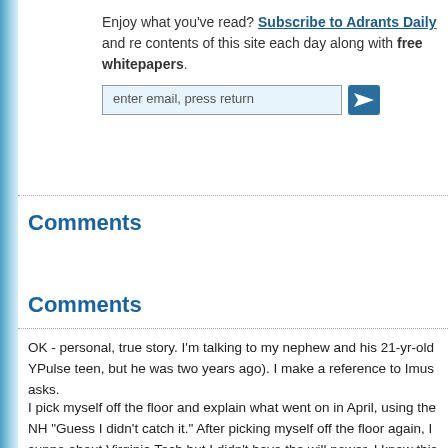Enjoy what you've read? Subscribe to Adrants Daily and re contents of this site each day along with free whitepapers.
[Figure (illustration): Martini glass illustration with blue tones on the left side]
Comments
Comments
OK - personal, true story. I'm talking to my nephew and his 21-yr-old YPulse teen, but he was two years ago). I make a reference to Imus asks.
I pick myself off the floor and explain what went on in April, using the NH "Guess I didn't catch it." After picking myself off the floor again, I suppo about Virginia Tech but I didn't have the will power. I know this is a samp sake...